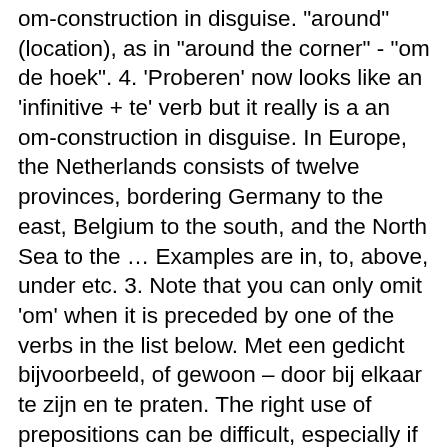om-construction in disguise. "around" (location), as in "around the corner" - "om de hoek". 4. 'Proberen' now looks like an 'infinitive + te' verb but it really is a an om-construction in disguise. In Europe, the Netherlands consists of twelve provinces, bordering Germany to the east, Belgium to the south, and the North Sea to the … Examples are in, to, above, under etc. 3. Note that you can only omit 'om' when it is preceded by one of the verbs in the list below. Met een gedicht bijvoorbeeld, of gewoon – door bij elkaar te zijn en te praten. The right use of prepositions can be difficult, especially if used in the combination with verbs and specific word combinations. Ze stonden zaterdagavond na 31 jaar weer op de planken. "at" (time), as in "at 5 o'clock" - "om vijf uur". 3. Of course, the meanings change again when these words are combined with verbs to create new verbs, but let's not go there just yet. 4. "at", as in "at the latest" - "op zijn laatst". They all have something to do with a wish, desire, or command. Are you looking forward to going to Eindhoven? De gratis service van Google kan woorden, zinnen en webpagina's onmiddellijk